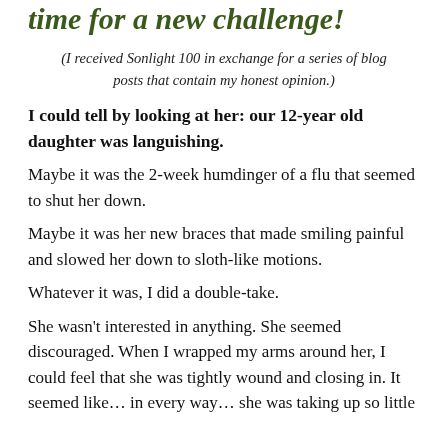time for a new challenge!
(I received Sonlight 100 in exchange for a series of blog posts that contain my honest opinion.)
I could tell by looking at her: our 12-year old daughter was languishing.
Maybe it was the 2-week humdinger of a flu that seemed to shut her down.
Maybe it was her new braces that made smiling painful and slowed her down to sloth-like motions.
Whatever it was, I did a double-take.
She wasn't interested in anything. She seemed discouraged. When I wrapped my arms around her, I could feel that she was tightly wound and closing in. It seemed like… in every way… she was taking up so little